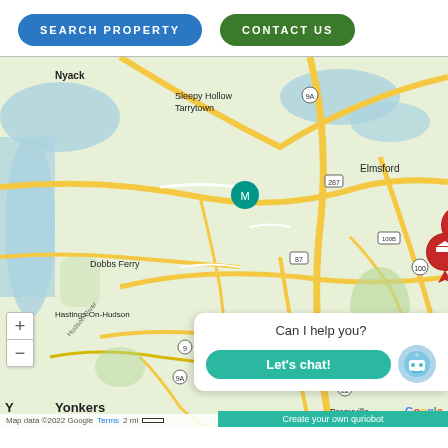[Figure (other): Two navigation buttons: 'SEARCH PROPERTY' (blue, pill-shaped) and 'CONTACT US' (green, pill-shaped)]
[Figure (map): Google Maps view of Westchester County, NY area showing Nyack, Sleepy Hollow, Tarrytown, Valhalla, Elmsford, White Plains, Hartsdale, Scarsdale, Dobbs Ferry, Hastings-On-Hudson, Rye Brook, Port Chester, Harrison, Eastchester, Bronxville, Yonkers with three red map pins with graduation cap icons clustered near Hartsdale/White Plains area, and one pink/red X pin near Eastchester. Map zoom controls visible. Chat widget overlay with 'Can I help you?' text, 'Let's chat!' button, and robot icon. Footer shows 'Create your own quriobot'. Map data copyright 2022 Google.]